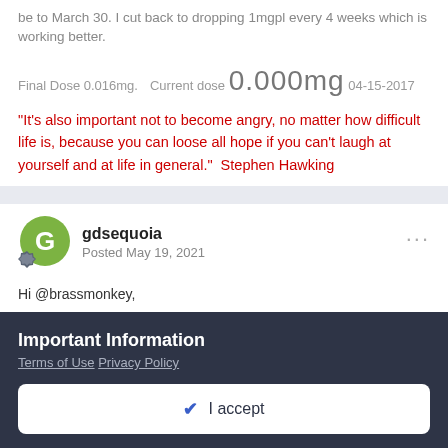be to March 30. I cut back to dropping 1mgpl every 4 weeks which is working better.
Final Dose 0.016mg.    Current dose 0.000mg  04-15-2017
"It's also important not to become angry, no matter how difficult life is, because you can loose all hope if you can't laugh at yourself and at life in general."  Stephen Hawking
gdsequoia
Posted May 19, 2021
Hi @brassmonkey,
Important Information
Terms of Use  Privacy Policy
✓  I accept